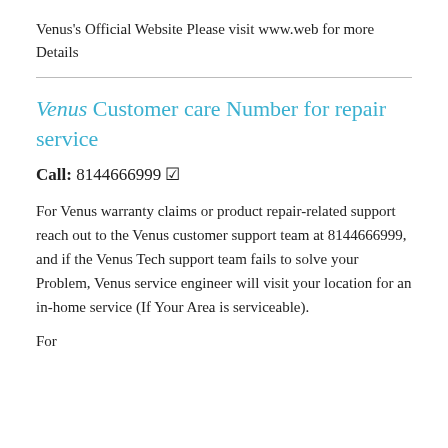Venus's Official Website Please visit www.web for more Details
Venus Customer care Number for repair service
Call: 8144666999 ☑
For Venus warranty claims or product repair-related support reach out to the Venus customer support team at 8144666999, and if the Venus Tech support team fails to solve your Problem, Venus service engineer will visit your location for an in-home service (If Your Area is serviceable).
For...